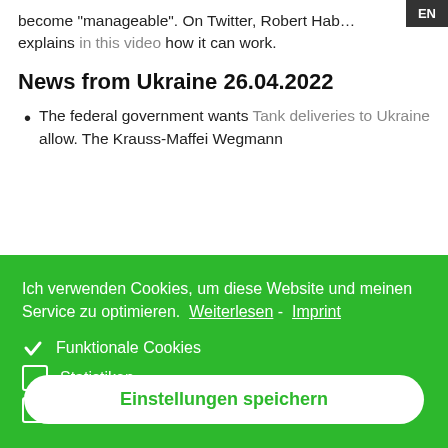become "manageable". On Twitter, Robert Hab… explains in this video how it can work.
News from Ukraine 26.04.2022
The federal government wants Tank deliveries to Ukraine allow. The Krauss-Maffei Wegmann
Ich verwenden Cookies, um diese Website und meinen Service zu optimieren. Weiterlesen - Imprint
✓ Funktionale Cookies
☐ Statistiken
☐ Marketing
Einstellungen speichern
Sergei Lavrov is threatening nuclear weapons.